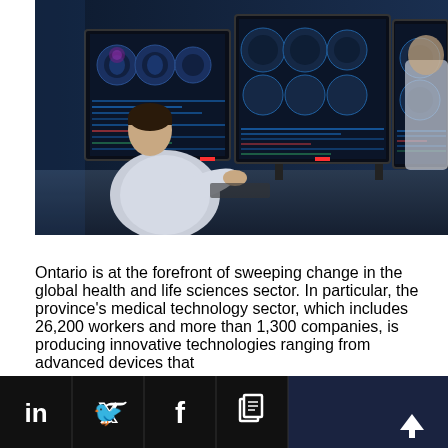[Figure (photo): A person in a white lab coat sits at a desk viewing multiple large monitors displaying medical brain scan images (CT/MRI) with data overlays in a clinical or research setting. Another person in a white coat is visible in the background.]
Ontario is at the forefront of sweeping change in the global health and life sciences sector. In particular, the province's medical technology sector, which includes 26,200 workers and more than 1,300 companies, is producing innovative technologies ranging from advanced devices that
[Figure (other): Social media footer bar with LinkedIn, Twitter, Facebook, and copy/share icons on the left in black squares, and an up-arrow icon on the right in a dark navy square.]